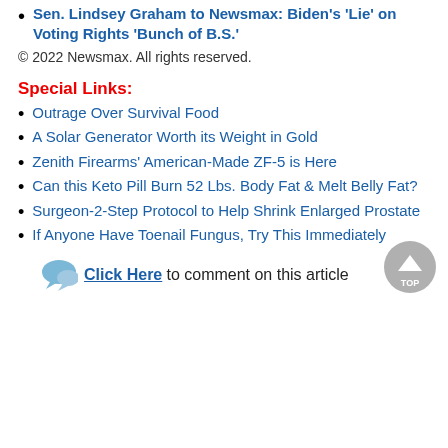Sen. Lindsey Graham to Newsmax: Biden's 'Lie' on Voting Rights 'Bunch of B.S.'
© 2022 Newsmax. All rights reserved.
Special Links:
Outrage Over Survival Food
A Solar Generator Worth its Weight in Gold
Zenith Firearms' American-Made ZF-5 is Here
Can this Keto Pill Burn 52 Lbs. Body Fat & Melt Belly Fat?
Surgeon-2-Step Protocol to Help Shrink Enlarged Prostate
If Anyone Have Toenail Fungus, Try This Immediately
Click Here to comment on this article